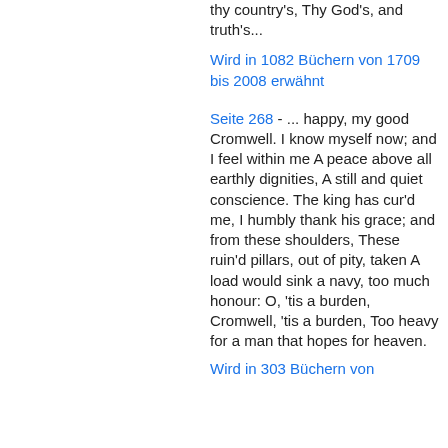thy country's, Thy God's, and truth's...
Wird in 1082 Büchern von 1709 bis 2008 erwähnt
Seite 268 - ... happy, my good Cromwell. I know myself now; and I feel within me A peace above all earthly dignities, A still and quiet conscience. The king has cur'd me, I humbly thank his grace; and from these shoulders, These ruin'd pillars, out of pity, taken A load would sink a navy, too much honour: O, 'tis a burden, Cromwell, 'tis a burden, Too heavy for a man that hopes for heaven.
Wird in 303 Büchern von